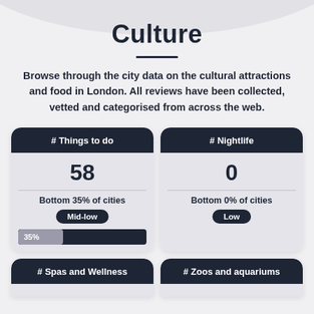Culture
Browse through the city data on the cultural attractions and food in London. All reviews have been collected, vetted and categorised from across the web.
[Figure (infographic): Card showing '# Things to do' with value 58, Bottom 35% of cities, Mid-low badge, and 35% progress bar]
[Figure (infographic): Card showing '# Nightlife' with value 0, Bottom 0% of cities, Low badge]
[Figure (infographic): Card showing '# Spas and Wellness' header (partially visible)]
[Figure (infographic): Card showing '# Zoos and aquariums' header (partially visible)]